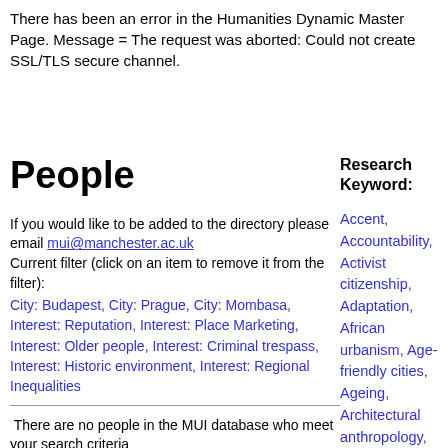There has been an error in the Humanities Dynamic Master Page. Message = The request was aborted: Could not create SSL/TLS secure channel.
People
Research Keyword:
If you would like to be added to the directory please email mui@manchester.ac.uk
Current filter (click on an item to remove it from the filter):
City: Budapest, City: Prague, City: Mombasa, Interest: Reputation, Interest: Place Marketing, Interest: Older people, Interest: Criminal trespass, Interest: Historic environment, Interest: Regional Inequalities
There are no people in the MUI database who meet your search criteria
Accent, Accountability, Activist citizenship, Adaptation, African urbanism, Age-friendly cities, Ageing, Architectural anthropology, Architectural drawing, Architectural ethnography, Architecture, Art, Aspiration, Atmosphere, Austerity,